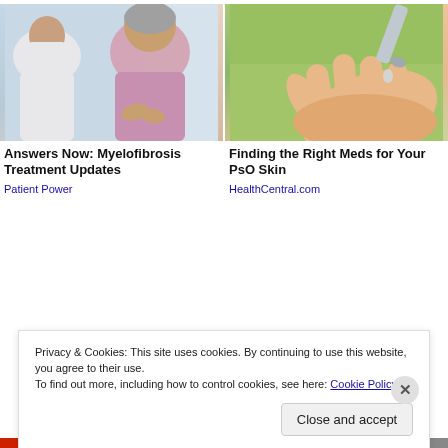[Figure (photo): Doctor consulting with an elderly woman patient in a medical setting]
[Figure (photo): Close-up of a hand with a medical device dropper applying medication to palm]
Answers Now: Myelofibrosis Treatment Updates
Patient Power
Finding the Right Meds for Your PsO Skin
HealthCentral.com
Privacy & Cookies: This site uses cookies. By continuing to use this website, you agree to their use.
To find out more, including how to control cookies, see here: Cookie Policy
Close and accept